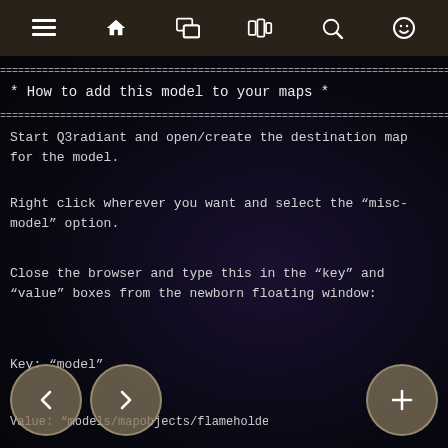☰  🏠  💬  📳  🔍  😊
=======================================================
* How to add this model to your maps *
=======================================================
Start Q3radiant and open/create the destination map for the model.
Right click wherever you want and select the "misc-model" option.
Close the browser and type this in the "key" and "value" boxes from the newborn floating window:
Key: "model"
Value: "models/mapobjects/flameholder/shaded.mo...
 "models/mapobjects/flameholder/unshaded.d..."